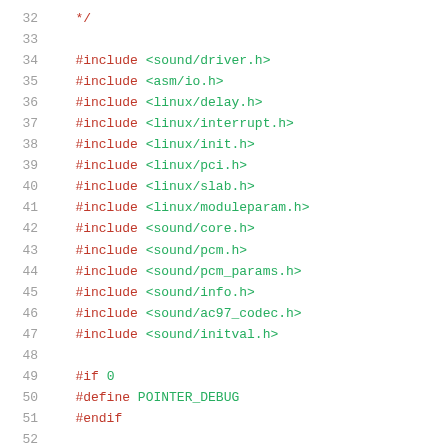32  */
33
34  #include <sound/driver.h>
35  #include <asm/io.h>
36  #include <linux/delay.h>
37  #include <linux/interrupt.h>
38  #include <linux/init.h>
39  #include <linux/pci.h>
40  #include <linux/slab.h>
41  #include <linux/moduleparam.h>
42  #include <sound/core.h>
43  #include <sound/pcm.h>
44  #include <sound/pcm_params.h>
45  #include <sound/info.h>
46  #include <sound/ac97_codec.h>
47  #include <sound/initval.h>
48
49  #if 0
50  #define POINTER_DEBUG
51  #endif
52